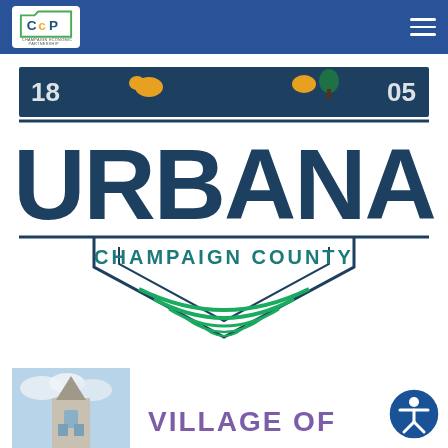[Figure (logo): CCP Champaign Economic Partnership logo in top nav bar]
[Figure (logo): City of Urbana Champaign County logo with decorative banner, year 1905, and shield/field emblem]
[Figure (photo): Partial photo of a historic building/church tower with blue sky]
VILLAGE OF
[Figure (logo): Accessibility icon button (person in circle)]